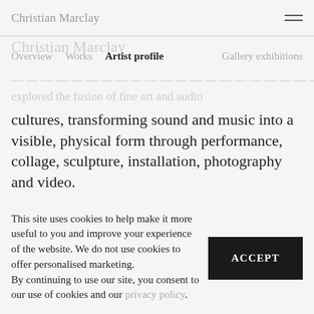Christian Marclay
Christian Marclay
Overview  Works  Artist profile  Gallery exhibitions
cultures, transforming sound and music into a visible, physical form through performance, collage, sculpture, installation, photography and video.
This site uses cookies to help make it more useful to you and improve your experience of the website. We do not use cookies to offer personalised marketing.
By continuing to use our site, you consent to our use of cookies and our privacy policy.